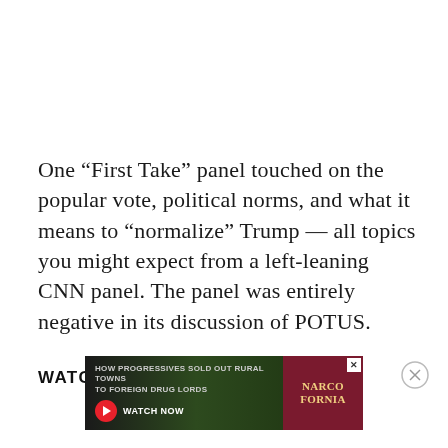One “First Take” panel touched on the popular vote, political norms, and what it means to “normalize” Trump — all topics you might expect from a left-leaning CNN panel. The panel was entirely negative in its discussion of POTUS.
WATCH·
[Figure (screenshot): Advertisement banner: 'HOW PROGRESSIVES SOLD OUT RURAL TOWNS TO FOREIGN DRUG LORDS' with a red play button labeled 'WATCH NOW' and a Narcofornia logo on the right, with an X close button.]